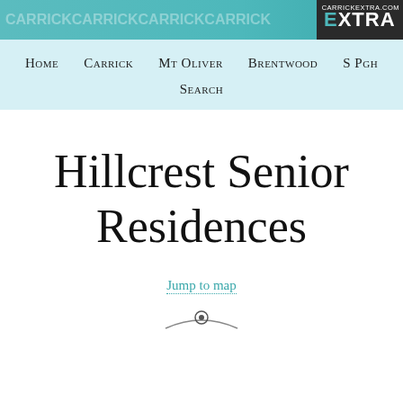CarrickCarrickCarrickCarrick EXTRA CarrickExtra.com
Home   Carrick   Mt Oliver   Brentwood   S Pgh
Search
Hillcrest Senior Residences
Jump to map